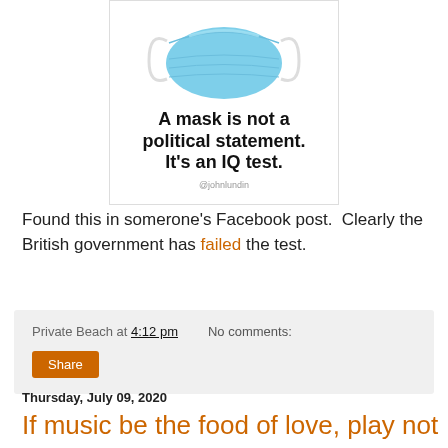[Figure (illustration): Image of a blue surgical face mask with text: 'A mask is not a political statement. It's an IQ test.' attributed to @johnlundin]
Found this in somerone's Facebook post.  Clearly the British government has failed the test.
Private Beach at 4:12 pm   No comments:
Share
Thursday, July 09, 2020
If music be the food of love, play not